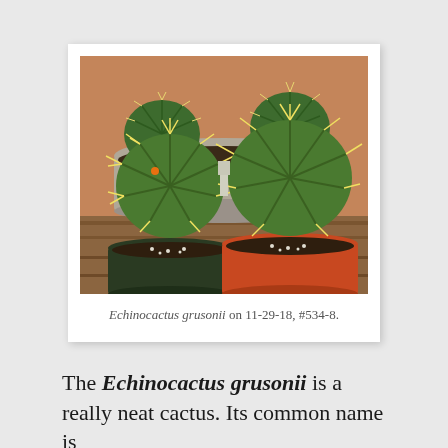[Figure (photo): Two round golden barrel cacti (Echinocactus grusonii) in foreground pots (one dark green, one orange-red), with additional barrel cacti in a large gray pot in the background, set against a terracotta wall and wooden surface.]
Echinocactus grusonii on 11-29-18, #534-8.
The Echinocactus grusonii is a really neat cactus. Its common name is